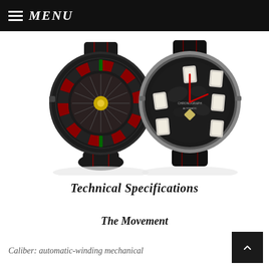MENU
[Figure (photo): Two luxury watches side by side: left watch features a roulette wheel dial design with red and black numbered segments and a gold center, mounted on a dark strap with red stitching; right watch features a card-themed dial with playing card suit markers on a dark camouflage-style face with red hands, on a dark leather strap.]
Technical Specifications
The Movement
Caliber: automatic-winding mechanical